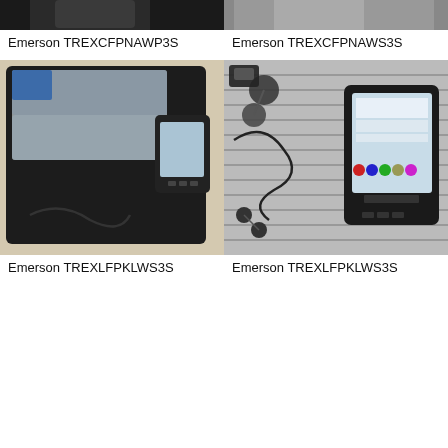[Figure (photo): Partial photo of Emerson device (top cropped), top-left]
Emerson TREXCFPNAWP3S
[Figure (photo): Partial photo of Emerson device (top cropped), top-right]
Emerson TREXCFPNAWS3S
[Figure (photo): Photo of Emerson device in black case with accessories in plastic bags]
Emerson TREXLFPKLWS3S
[Figure (photo): Photo of Emerson device with headphones and earbuds on striped surface]
Emerson TREXLFPKLWS3S